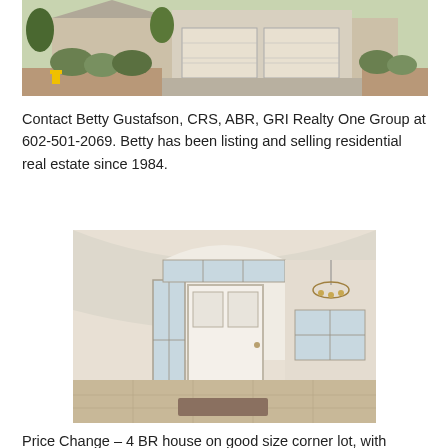[Figure (photo): Exterior front view of a single-story residential house with desert landscaping, gravel yard, bushes, a yellow fire hydrant, and a two-car garage with white doors and a concrete driveway.]
Contact Betty Gustafson, CRS, ABR, GRI Realty One Group at 602-501-2069. Betty has been listing and selling residential real estate since 1984.
[Figure (photo): Interior photo of a home entrance foyer with a white arched front door with sidelights, tile flooring, and an open view into a dining or living room area with a chandelier and large window.]
Price Change – 4 BR house on good size corner lot, with